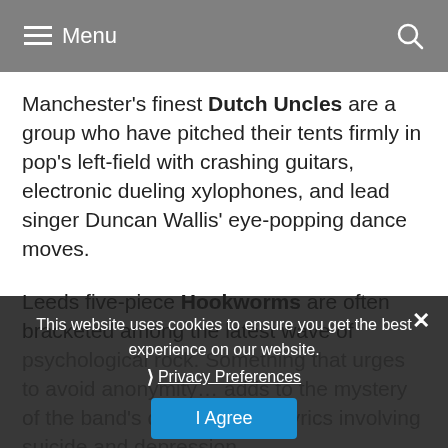Menu
Manchester's finest Dutch Uncles are a group who have pitched their tents firmly in pop's left-field with crashing guitars, electronic dueling xylophones, and lead singer Duncan Wallis' eye-popping dance moves.
Leeds five-piece Hookworms are often bracketed among the latest wave of psychedelic rock, but the anonymity the band insists on, to avoid a cult of personality, adds to the mystery of the band's deep, emotive lyrics involving topics like suicide and depression.
This website uses cookies to ensure you get the best experience on our website.
Privacy Preferences
I Agree